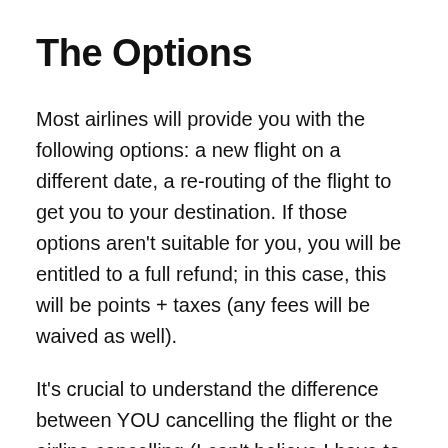The Options
Most airlines will provide you with the following options: a new flight on a different date, a re-routing of the flight to get you to your destination. If those options aren't suitable for you, you will be entitled to a full refund; in this case, this will be points + taxes (any fees will be waived as well).
It's crucial to understand the difference between YOU cancelling the flight or the airline cancelling (I can't believe I have to say this… but you know who you are). Naturally